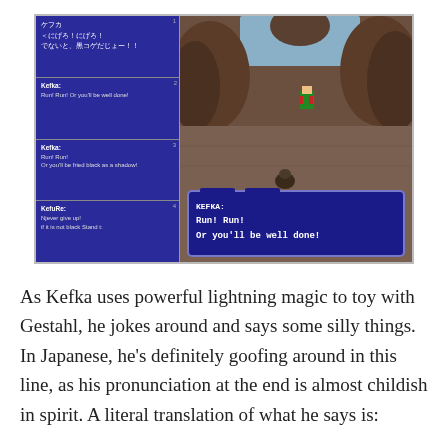[Figure (screenshot): Side-by-side comparison of a video game scene from Final Fantasy VI. Left column shows four dialog boxes in Japanese and English translations with Kefka speaking. Right side shows the in-game scene with a character on rocky terrain and a dialog box reading 'KEFKA: Run! Run! Or you'll be well done!']
As Kefka uses powerful lightning magic to toy with Gestahl, he jokes around and says some silly things. In Japanese, he's definitely goofing around in this line, as his pronunciation at the end is almost childish in spirit. A literal translation of what he says is: